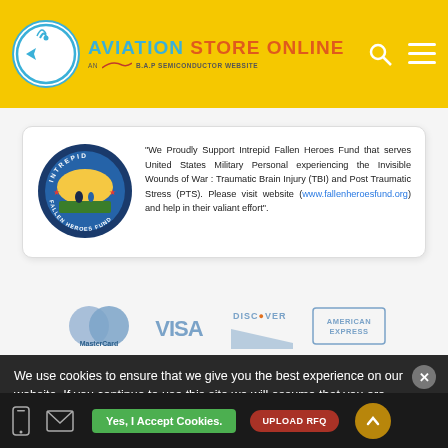AVIATION STORE ONLINE - AN B.A.P SEMICONDUCTOR WEBSITE
"We Proudly Support Intrepid Fallen Heroes Fund that serves United States Military Personal experiencing the Invisible Wounds of War : Traumatic Brain Injury (TBI) and Post Traumatic Stress (PTS). Please visit website (www.fallenheroesfund.org) and help in their valiant effort".
[Figure (logo): Payment method logos: MasterCard, VISA, Discover, American Express]
We use cookies to ensure that we give you the best experience on our website. If you continue to use this site we will assume that you are happy with it.
Yes, I Accept Cookies. UPLOAD RFQ